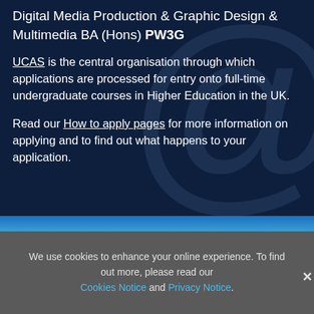Digital Media Production & Graphic Design & Multimedia BA (Hons) PW3G
UCAS is the central organisation through which applications are processed for entry onto full-time undergraduate courses in Higher Education in the UK.
Read our How to apply pages for more information on applying and to find out what happens to your application.
We use cookies to enhance your online experience. To find out more, please read our Cookies Notice and Privacy Notice.